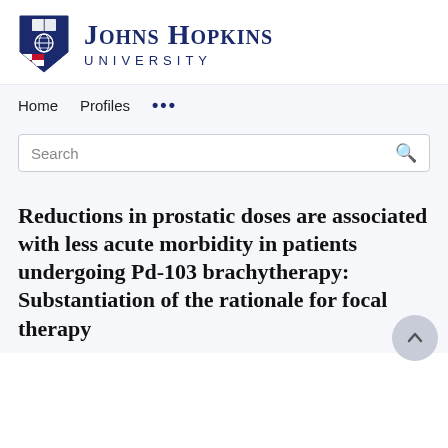[Figure (logo): Johns Hopkins University logo with shield emblem and university name in navy blue]
Home   Profiles   ...
Search
Reductions in prostatic doses are associated with less acute morbidity in patients undergoing Pd-103 brachytherapy: Substantiation of the rationale for focal therapy